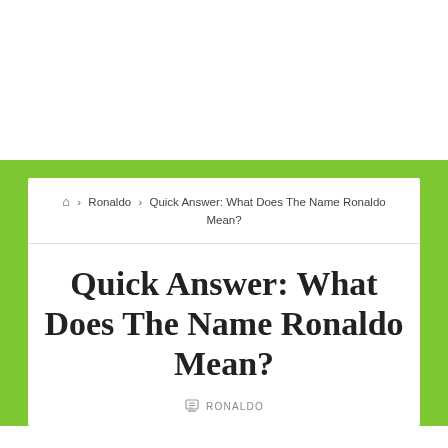🏠 > Ronaldo > Quick Answer: What Does The Name Ronaldo Mean?
Quick Answer: What Does The Name Ronaldo Mean?
RONALDO